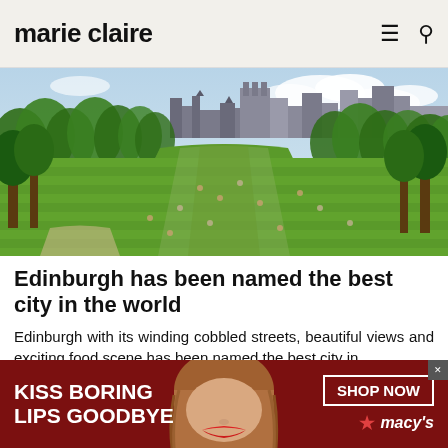marie claire
[Figure (photo): Aerial view of Edinburgh's Princes Street Gardens with green lawns, trees, people relaxing on the grass, and Edinburgh cityscape with historic buildings in the background under a partly cloudy sky.]
Edinburgh has been named the best city in the world
Edinburgh with its winding cobbled streets, beautiful views and exciting food scene has been named the best city in...
Marie Claire
[Figure (photo): Partial view of a second article's hero image — interior scene, partially visible.]
[Figure (photo): Advertisement banner: red background showing a woman's face with red lips. Text reads KISS BORING LIPS GOODBYE with SHOP NOW button and Macy's star logo.]